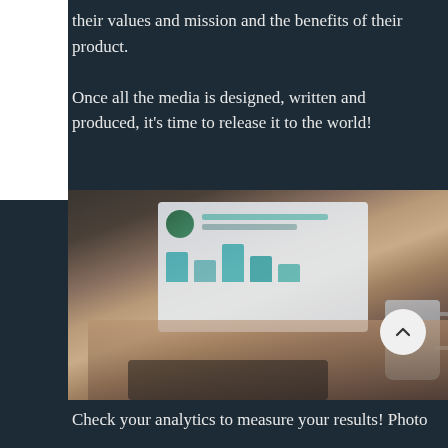their values and mission and the benefits of their product.
Once all the media is designed, written and produced, it's time to release it to the world!
[Figure (photo): Blurred photo of a person's hands typing on a laptop keyboard, with a coffee mug to the right. The laptop screen displays a dashboard with charts and graphs. The scene is dimly lit on a wooden surface.]
Check your analytics to measure your results! Photo